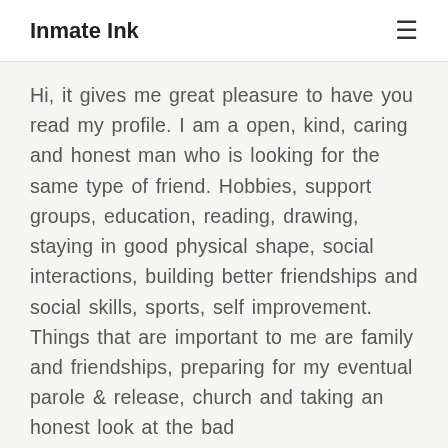Inmate Ink
Hi, it gives me great pleasure to have you read my profile. I am a open, kind, caring and honest man who is looking for the same type of friend. Hobbies, support groups, education, reading, drawing, staying in good physical shape, social interactions, building better friendships and social skills, sports, self improvement. Things that are important to me are family and friendships, preparing for my eventual parole & release, church and taking an honest look at the bad